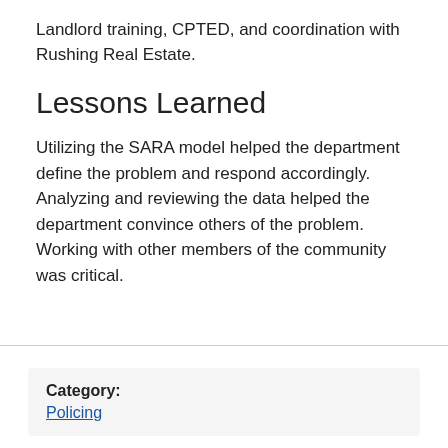Landlord training, CPTED, and coordination with Rushing Real Estate.
Lessons Learned
Utilizing the SARA model helped the department define the problem and respond accordingly. Analyzing and reviewing the data helped the department convince others of the problem. Working with other members of the community was critical.
Category:
Policing